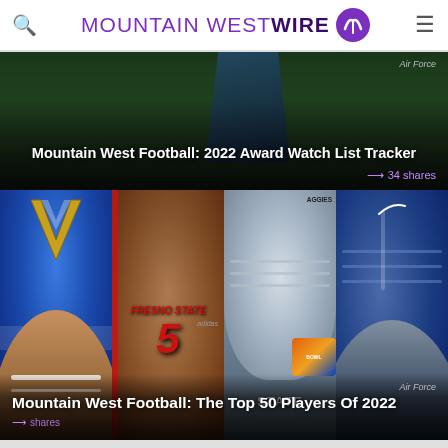Mountain West Wire
[Figure (photo): Hero image with dark football field background and player, overlay text for Mountain West Football: 2022 Award Watch List Tracker article, Air Force tag, 34 shares]
Mountain West Football: 2022 Award Watch List Tracker
[Figure (photo): Four-panel collage of Mountain West football players: San Jose State Spartans helmet player, Fresno State #5 player, Utah State Aggies helmet player, Boise State player. Article: Mountain West Football: The Top 50 Players Of 2022. Air Force tag.]
Mountain West Football: The Top 50 Players Of 2022